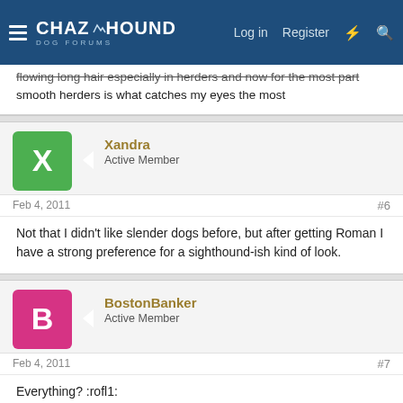ChaZHound Dog Forums — Log in | Register
flowing long hair especially in herders and now for the most part smooth herders is what catches my eyes the most
Xandra
Active Member
Feb 4, 2011
#6
Not that I didn't like slender dogs before, but after getting Roman I have a strong preference for a sighthound-ish kind of look.
BostonBanker
Active Member
Feb 4, 2011
#7
Everything? :rofl1:

Seriously, when I was describing what I like physically in a dog